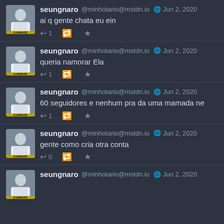[Figure (screenshot): Social media feed screenshot showing multiple posts by seungnaro @minhotario@mstdn.io on Jun 2, 2020]
seungnaro @minhotario@mstdn.io Jun 2, 2020 - ai q gente chata eu ein
seungnaro @minhotario@mstdn.io Jun 2, 2020 - queria namorar  Ela
seungnaro @minhotario@mstdn.io Jun 2, 2020 - 60 seguidores e nenhum pra da uma mamada ne
seungnaro @minhotario@mstdn.io Jun 2, 2020 - gente como cria otra conta
seungnaro @minhotario@mstdn.io Jun 2, 2020